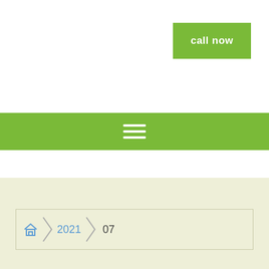[Figure (other): Green 'call now' button in top right area]
[Figure (other): Green navigation bar with hamburger menu (three horizontal white lines)]
[Figure (other): Breadcrumb navigation on beige background showing home icon, 2021, and 07]